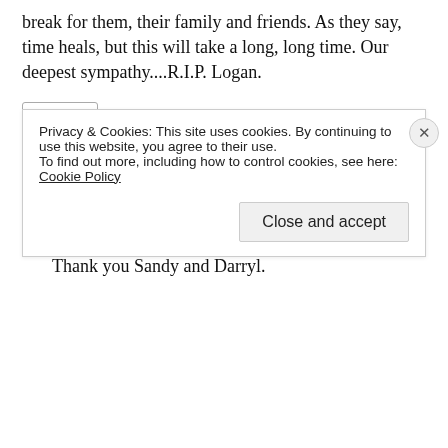break for them, their family and friends. As they say, time heals, but this will take a long, long time. Our deepest sympathy....R.I.P. Logan.
Reply
Daniel Herr
July 25, 2012 at 9:29 pm
Thank you Sandy and Darryl.
Privacy & Cookies: This site uses cookies. By continuing to use this website, you agree to their use.
To find out more, including how to control cookies, see here:
Cookie Policy
Close and accept